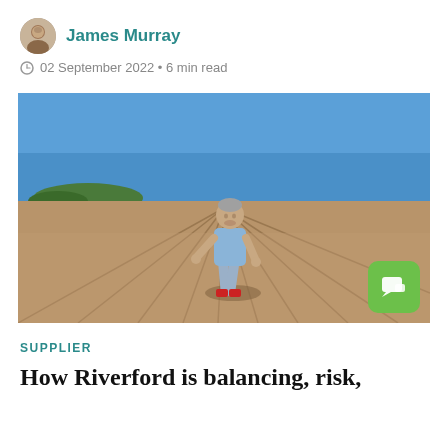James Murray
02 September 2022 • 6 min read
[Figure (photo): A man in a light blue shirt and grey shorts standing in a dry, ploughed field under a clear blue sky, looking down at the soil. He is wearing red socks.]
SUPPLIER
How Riverford is balancing, risk,